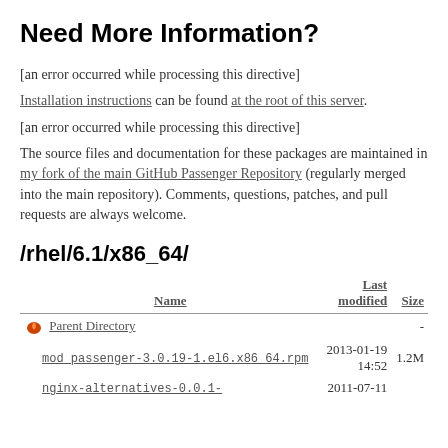Need More Information?
[an error occurred while processing this directive]
Installation instructions can be found at the root of this server.
[an error occurred while processing this directive]
The source files and documentation for these packages are maintained in my fork of the main GitHub Passenger Repository (regularly merged into the main repository). Comments, questions, patches, and pull requests are always welcome.
/rhel/6.1/x86_64/
| Name | Last modified | Size |
| --- | --- | --- |
| Parent Directory |  | - |
| mod_passenger-3.0.19-1.el6.x86_64.rpm | 2013-01-19 14:52 | 1.2M |
| nginx-alternatives-0.0.1- | 2011-07-11 |  |